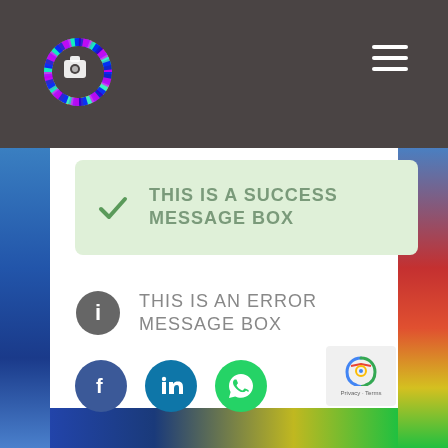[Figure (screenshot): Website header bar with colorful logo icon on left and hamburger menu icon on right, dark gray background]
THIS IS A SUCCESS MESSAGE BOX
THIS IS AN ERROR MESSAGE BOX
[Figure (infographic): Three social media share buttons: Facebook (dark blue circle with f icon), LinkedIn (teal circle with in icon), WhatsApp (green circle with phone icon)]
[Figure (logo): reCAPTCHA badge with Privacy and Terms links]